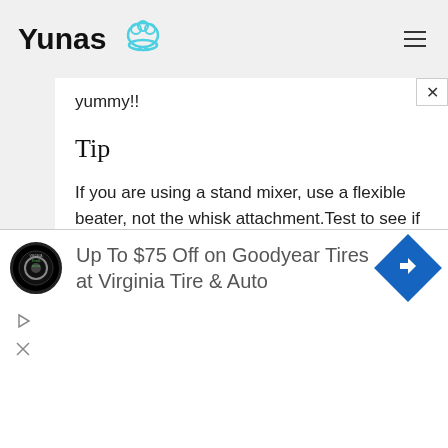Yunas [chef icon] [hamburger menu]
yummy!!
Tip
If you are using a stand mixer, use a flexible beater, not the whisk attachment.Test to see if cooked with a cocktail stick, if it comes out clean, they're done!
See it on my blog
[Figure (infographic): Advertisement banner: Up To $75 Off on Goodyear Tires at Virginia Tire & Auto, with logos and navigation arrow icon. Close and mute controls visible.]